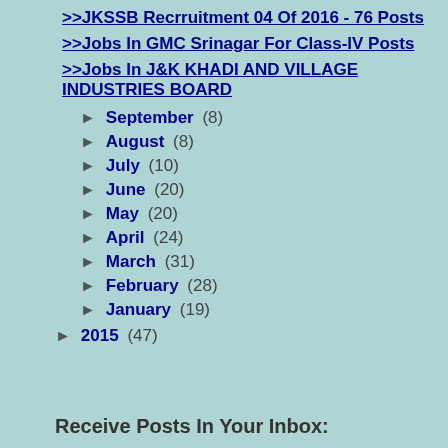>>JKSSB Recrruitment 04 Of 2016 - 76 Posts
>>Jobs In GMC Srinagar For Class-IV Posts
>>Jobs In J&K KHADI AND VILLAGE INDUSTRIES BOARD
► September (8)
► August (8)
► July (10)
► June (20)
► May (20)
► April (24)
► March (31)
► February (28)
► January (19)
► 2015 (47)
Receive Posts In Your Inbox: